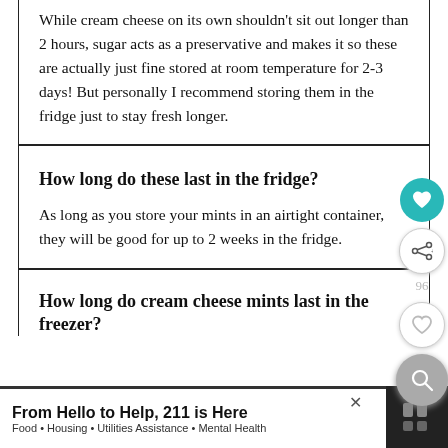While cream cheese on its own shouldn't sit out longer than 2 hours, sugar acts as a preservative and makes it so these are actually just fine stored at room temperature for 2-3 days! But personally I recommend storing them in the fridge just to stay fresh longer.
How long do these last in the fridge?
As long as you store your mints in an airtight container, they will be good for up to 2 weeks in the fridge.
How long do cream cheese mints last in the freezer?
From Hello to Help, 211 is Here
Food • Housing • Utilities Assistance • Mental Health